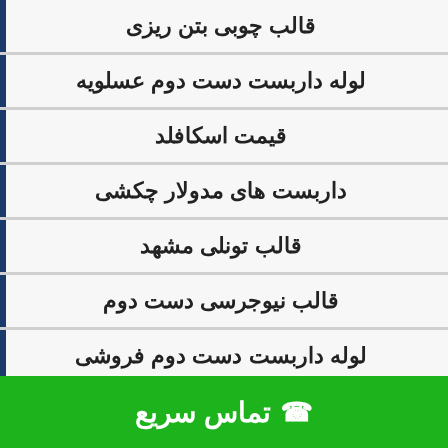قالب چوبی بتن ریزی
لوله داربست دست دوم عسلویه
قیمت اسکافلد
داربست های مدولار چکشی
قالب تونلی مشهد
قالب نیوجرسی دست دوم
لوله داربست دست دوم فروشی
دستگاه خم وبرش آرماتور دست دوم
قا...
تماس سریع